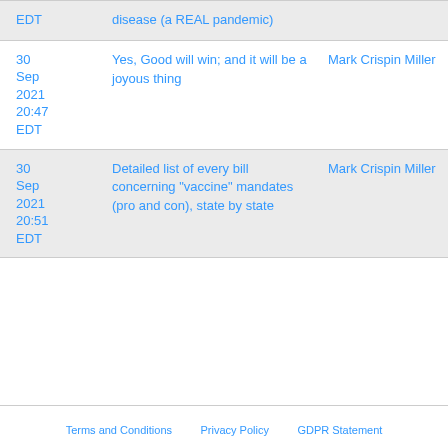| Date | Title | Author |
| --- | --- | --- |
| EDT | disease (a REAL pandemic) |  |
| 30 Sep 2021 20:47 EDT | Yes, Good will win; and it will be a joyous thing | Mark Crispin Miller |
| 30 Sep 2021 20:51 EDT | Detailed list of every bill concerning "vaccine" mandates (pro and con), state by state | Mark Crispin Miller |
Terms and Conditions   Privacy Policy   GDPR Statement